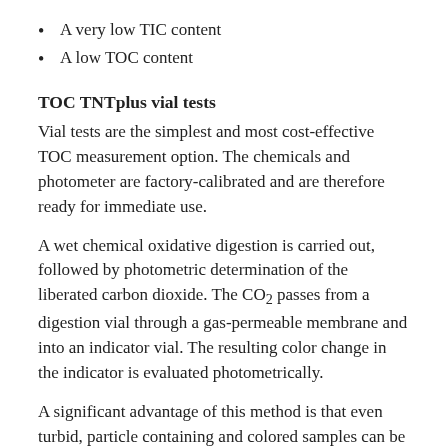A very low TIC content
A low TOC content
TOC TNTplus vial tests
Vial tests are the simplest and most cost-effective TOC measurement option. The chemicals and photometer are factory-calibrated and are therefore ready for immediate use.
A wet chemical oxidative digestion is carried out, followed by photometric determination of the liberated carbon dioxide. The CO₂ passes from a digestion vial through a gas-permeable membrane and into an indicator vial. The resulting color change in the indicator is evaluated photometrically.
A significant advantage of this method is that even turbid, particle containing and colored samples can be analyzed without difficulty, as only the color